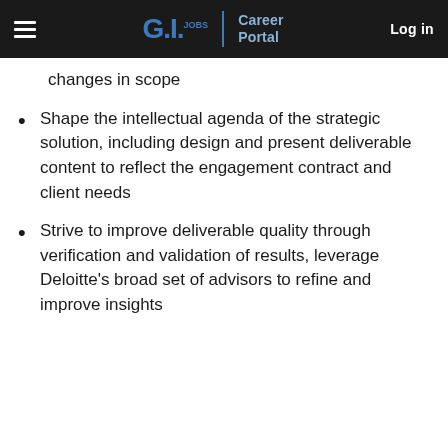G.I. Jobs | Career Portal  Log in
changes in scope
Shape the intellectual agenda of the strategic solution, including design and present deliverable content to reflect the engagement contract and client needs
Strive to improve deliverable quality through verification and validation of results, leverage Deloitte's broad set of advisors to refine and improve insights